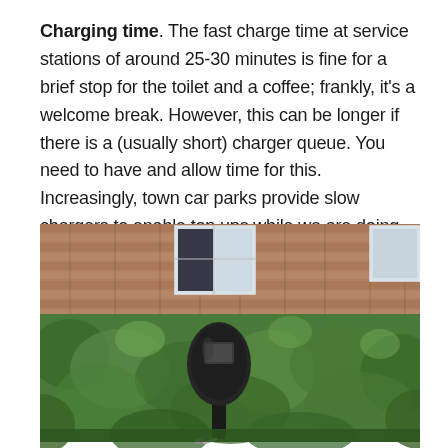Charging time. The fast charge time at service stations of around 25-30 minutes is fine for a brief stop for the toilet and a coffee; frankly, it's a welcome break. However, this can be longer if there is a (usually short) charger queue. You need to have and allow time for this. Increasingly, town car parks provide slow chargers to enable top ups while we are doing something else.
[Figure (photo): Photograph of a dark-colored electric vehicle charging post/station standing among green shrubs and plants, with a brick wall and white-framed windows visible in the background.]